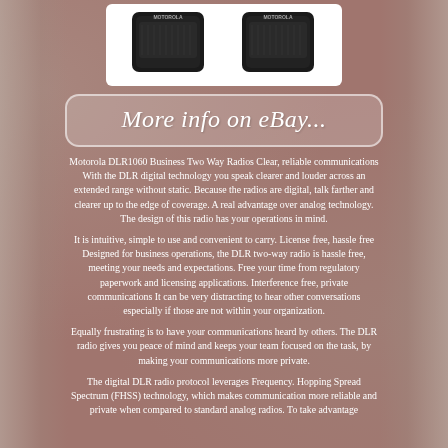[Figure (photo): Two Motorola DLR1060 two-way radios shown side by side on a white background with eBay watermark]
[Figure (screenshot): eBay banner button reading 'More info on eBay...' in italic script on a rounded rectangle with light border]
Motorola DLR1060 Business Two Way Radios Clear, reliable communications With the DLR digital technology you speak clearer and louder across an extended range without static. Because the radios are digital, talk farther and clearer up to the edge of coverage. A real advantage over analog technology. The design of this radio has your operations in mind.
It is intuitive, simple to use and convenient to carry. License free, hassle free Designed for business operations, the DLR two-way radio is hassle free, meeting your needs and expectations. Free your time from regulatory paperwork and licensing applications. Interference free, private communications It can be very distracting to hear other conversations especially if those are not within your organization.
Equally frustrating is to have your communications heard by others. The DLR radio gives you peace of mind and keeps your team focused on the task, by making your communications more private.
The digital DLR radio protocol leverages Frequency. Hopping Spread Spectrum (FHSS) technology, which makes communication more reliable and private when compared to standard analog radios. To take advantage